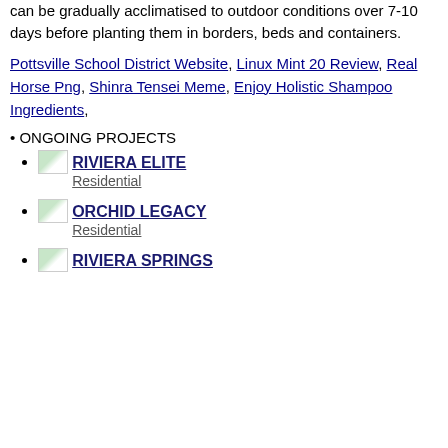can be gradually acclimatised to outdoor conditions over 7-10 days before planting them in borders, beds and containers.
Pottsville School District Website, Linux Mint 20 Review, Real Horse Png, Shinra Tensei Meme, Enjoy Holistic Shampoo Ingredients,
• ONGOING PROJECTS
RIVIERA ELITE Residential
ORCHID LEGACY Residential
RIVIERA SPRINGS